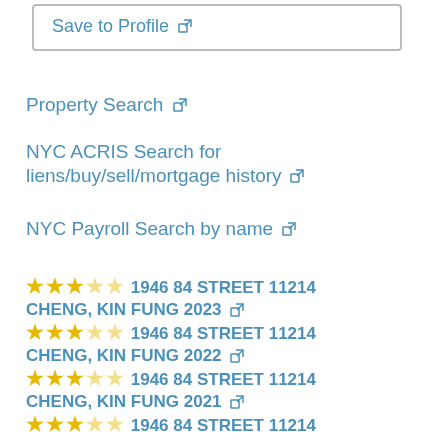Save to Profile ↗
Property Search ↗
NYC ACRIS Search for liens/buy/sell/mortgage history ↗
NYC Payroll Search by name ↗
★★★☆☆ 1946 84 STREET 11214 CHENG, KIN FUNG 2023 ↗
★★★☆☆ 1946 84 STREET 11214 CHENG, KIN FUNG 2022 ↗
★★★☆☆ 1946 84 STREET 11214 CHENG, KIN FUNG 2021 ↗
★★★☆☆ 1946 84 STREET 11214 CHENG, KIN FUNG 2020 ↗